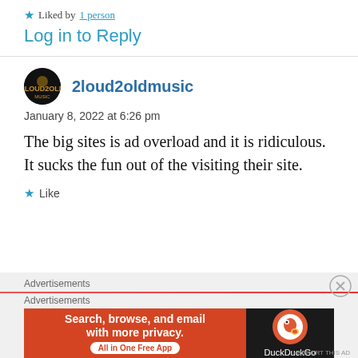★ Liked by 1 person
Log in to Reply
2loud2oldmusic
January 8, 2022 at 6:26 pm
The big sites is ad overload and it is ridiculous. It sucks the fun out of the visiting their site.
★ Like
Advertisements
Advertisements
[Figure (infographic): DuckDuckGo advertisement banner: orange background on left with text 'Search, browse, and email with more privacy. All in One Free App', dark right panel with DuckDuckGo logo and duck icon.]